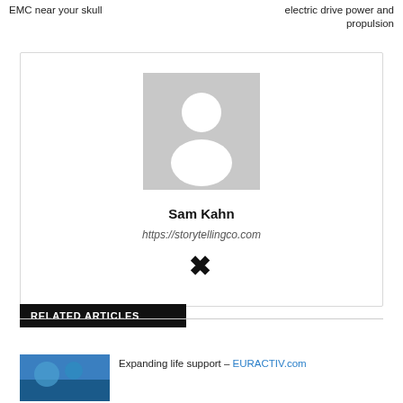EMC near your skull
electric drive power and propulsion
[Figure (photo): Author profile card for Sam Kahn with a generic grey placeholder avatar image, name 'Sam Kahn', URL 'https://storytellingco.com', and a Xing social media icon]
RELATED ARTICLES
[Figure (photo): Small thumbnail image at bottom left, appears to show a blue/teal colored image]
Expanding life support – EURACTIV.com